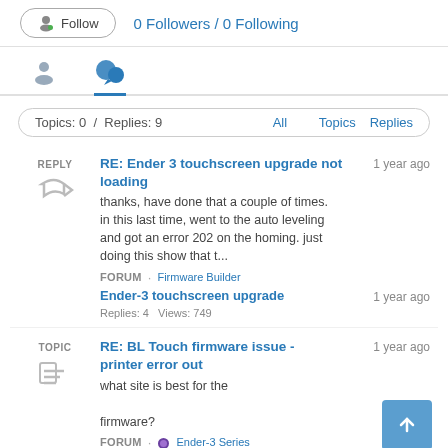Follow   0 Followers / 0 Following
[Figure (screenshot): Tab icons: person icon and speech bubble icon with blue underline on active tab]
Topics: 0 / Replies: 9   All   Topics   Replies
REPLY
RE: Ender 3 touchscreen upgrade not loading   1 year ago
thanks, have done that a couple of times. in this last time, went to the auto leveling and got an error 202 on the homing. just doing this show that t...
FORUM · Firmware Builder
Ender-3 touchscreen upgrade   1 year ago
Replies: 4   Views: 749
TOPIC
RE: BL Touch firmware issue - printer error out   1 year ago
what site is best for the firmware?
FORUM · Ender-3 Series
REPLY
RE: BL Touch firmware issue - printer error out   1 year ago
here is a picture of the BL